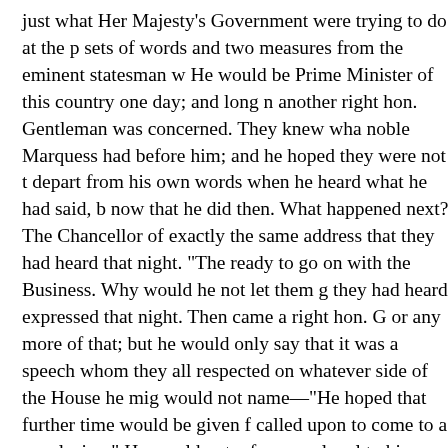just what Her Majesty's Government were trying to do at the p sets of words and two measures from the eminent statesman w He would be Prime Minister of this country one day; and long n another right hon. Gentleman was concerned. They knew wha noble Marquess had before him; and he hoped they were not t depart from his own words when he heard what he had said, b now that he did then. What happened next? The Chancellor of exactly the same address that they had heard that night. "The ready to go on with the Business. Why would he not let them g they had heard expressed that night. Then came a right hon. G or any more of that; but he would only say that it was a speech whom they all respected on whatever side of the House he mi would not name—"He hoped that further time would be given f called upon to come to a conclusion." He would not, of course, loyal to his Party, true to his principles, and then, in that House country, a man of whom they were all proud. After that short de Noes 160: Majority 88. How evident it was that the minority ga How they respected the institutions of the country and the dign minority should give way to the majority! Not at all. The noble M immediately after the division they went at it again as fresh as